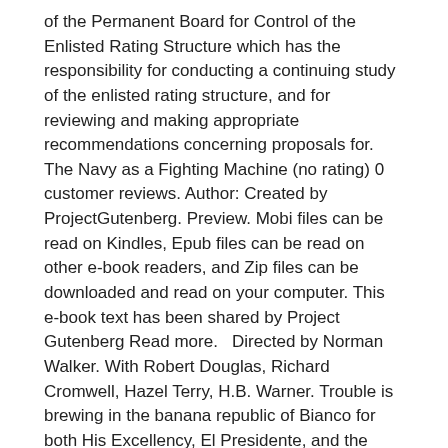of the Permanent Board for Control of the Enlisted Rating Structure which has the responsibility for conducting a continuing study of the enlisted rating structure, and for reviewing and making appropriate recommendations concerning proposals for. The Navy as a Fighting Machine (no rating) 0 customer reviews. Author: Created by ProjectGutenberg. Preview. Mobi files can be read on Kindles, Epub files can be read on other e-book readers, and Zip files can be downloaded and read on your computer. This e-book text has been shared by Project Gutenberg Read more.   Directed by Norman Walker. With Robert Douglas, Richard Cromwell, Hazel Terry, H.B. Warner. Trouble is brewing in the banana republic of Bianco for both His Excellency, El Presidente, and the British Consul, Brant. Rebels, led by Diego De Costa, the trusted "Minister of the Marines and the Customs" and Lieutenant Enricquo, the gunnery officer of the small republic's one battleship, have /10(3).
About this Book Catalog Record Details. Germany's